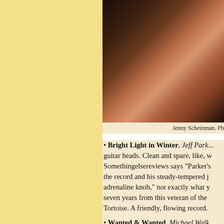[Figure (photo): Close-up photograph of a person's back and arms wearing a fringed or textured garment, dark background]
Jenny Scheinman. Ph
• Bright Light in Winter, Jeff Park... guitar heads. Clean and spare, like, w... Somethingelsereviews says "Parker's... the record and his steady-tempered j... adrenaline knob," not exactly what y... seven years from this veteran of the ... Tortoise. A friendly, flowing record.
• Wanted & Wanted, Michael Walk...